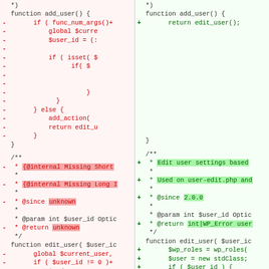[Figure (screenshot): A two-column code diff showing changes to add_user() and edit_user() PHP functions. Left column shows removed lines in red with minus markers, right column shows added lines in green with plus markers. Key differences include internal doc comments, @since unknown vs 2.0.0, @return unknown vs int|WP_Error, and function body changes.]